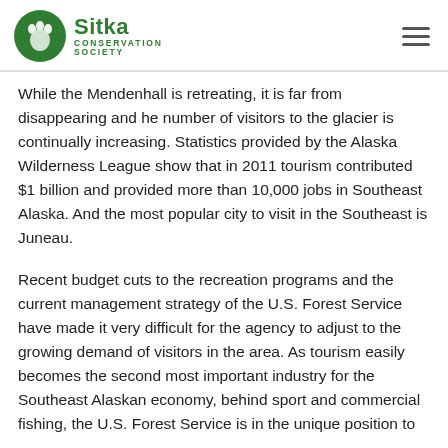Sitka Conservation Society
While the Mendenhall is retreating, it is far from disappearing and he number of visitors to the glacier is continually increasing. Statistics provided by the Alaska Wilderness League show that in 2011 tourism contributed $1 billion and provided more than 10,000 jobs in Southeast Alaska. And the most popular city to visit in the Southeast is Juneau.
Recent budget cuts to the recreation programs and the current management strategy of the U.S. Forest Service have made it very difficult for the agency to adjust to the growing demand of visitors in the area. As tourism easily becomes the second most important industry for the Southeast Alaskan economy, behind sport and commercial fishing, the U.S. Forest Service is in the unique position to